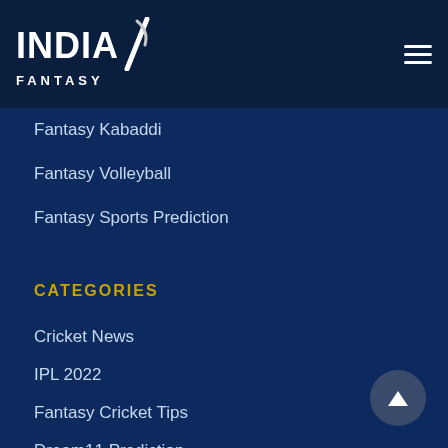[Figure (logo): India Fantasy logo — white bold text 'INDIA' with stylized diagonal slash/swoosh, 'FANTASY' in smaller letters below]
Fantasy Kabaddi
Fantasy Volleyball
Fantasy Sports Prediction
CATEGORIES
Cricket News
IPL 2022
Fantasy Cricket Tips
Dream11 Prediction
Today Match Prediction
Best Fantasy Cricket Apps